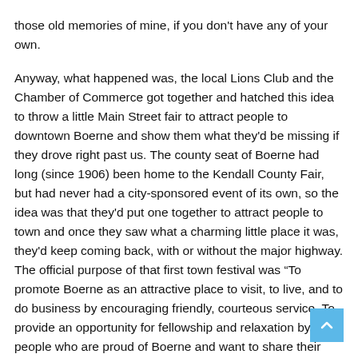those old memories of mine, if you don't have any of your own.
Anyway, what happened was, the local Lions Club and the Chamber of Commerce got together and hatched this idea to throw a little Main Street fair to attract people to downtown Boerne and show them what they'd be missing if they drove right past us. The county seat of Boerne had long (since 1906) been home to the Kendall County Fair, but had never had a city-sponsored event of its own, so the idea was that they'd put one together to attract people to town and once they saw what a charming little place it was, they'd keep coming back, with or without the major highway. The official purpose of that first town festival was “To promote Boerne as an attractive place to visit, to live, and to do business by encouraging friendly, courteous service. To provide an opportunity for fellowship and relaxation by people who are proud of Boerne and want to share their good fortune with others.”